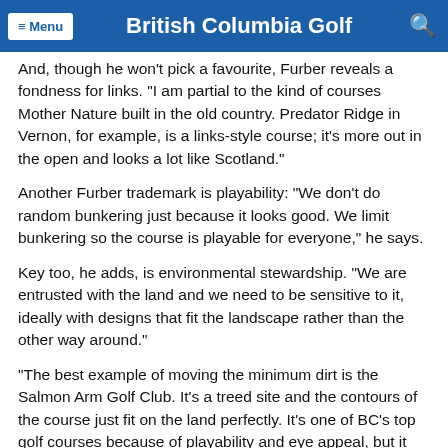≡ Menu  British Columbia Golf  🔍
And, though he won't pick a favourite, Furber reveals a fondness for links. "I am partial to the kind of courses Mother Nature built in the old country. Predator Ridge in Vernon, for example, is a links-style course; it's more out in the open and looks a lot like Scotland."
Another Furber trademark is playability: "We don't do random bunkering just because it looks good. We limit bunkering so the course is playable for everyone," he says.
Key too, he adds, is environmental stewardship. "We are entrusted with the land and we need to be sensitive to it, ideally with designs that fit the landscape rather than the other way around."
"The best example of moving the minimum dirt is the Salmon Arm Golf Club. It's a treed site and the contours of the course just fit on the land perfectly. It's one of BC's top golf courses because of playability and eye appeal, but it was created on the rolling contours that were already there," recalls Furber.
It could take years to play every Les Furber layout in B.C., but some top choices include a string of mountain courses in the Kootenay Rockies, along a stretch that is affectionately dubbed the "Furber Trail." Here, Furber fans can tee off beneath Rocky Mountain views